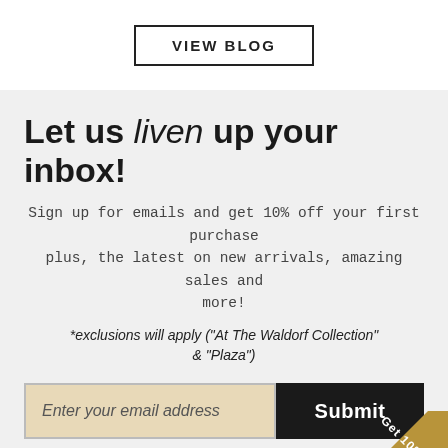VIEW BLOG
Let us liven up your inbox!
Sign up for emails and get 10% off your first purchase plus, the latest on new arrivals, amazing sales and more!
*exclusions will apply ("At The Waldorf Collection" & "Plaza")
Enter your email address
Submit